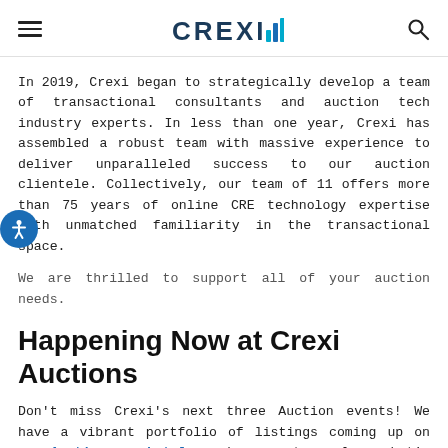CREXI [logo with bar chart icon]
In 2019, Crexi began to strategically develop a team of transactional consultants and auction tech industry experts. In less than one year, Crexi has assembled a robust team with massive experience to deliver unparalleled success to our auction clientele. Collectively, our team of 11 offers more than 75 years of online CRE technology expertise with unmatched familiarity in the transactional space.
We are thrilled to support all of your auction needs.
Happening Now at Crexi Auctions
Don't miss Crexi's next three Auction events! We have a vibrant portfolio of listings coming up on our Auctions marketplace, be sure to explore what's coming up